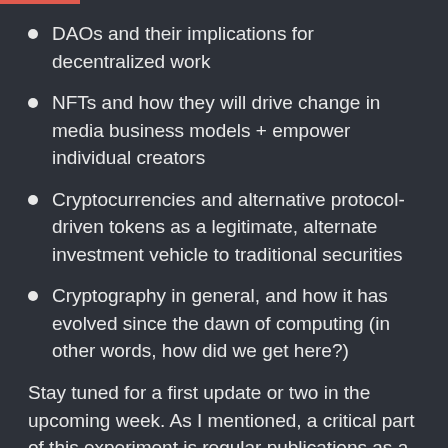DAOs and their implications for decentralized work
NFTs and how they will drive change in media business models + empower individual creators
Cryptocurrencies and alternative protocol-driven tokens as a legitimate, alternate investment vehicle to traditional securities
Cryptography in general, and how it has evolved since the dawn of computing (in other words, how did we get here?)
Stay tuned for a first update or two in the upcoming week. As I mentioned, a critical part of this experiment is regular publications as a means of